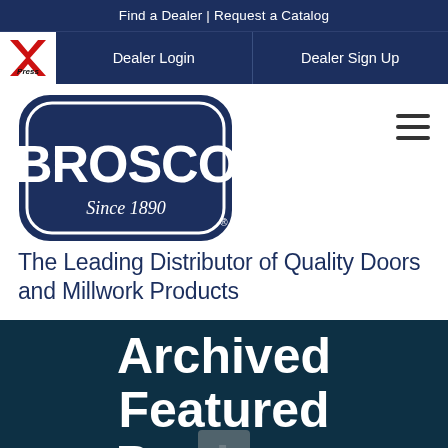Find a Dealer | Request a Catalog
Dealer Login | Dealer Sign Up
[Figure (logo): Brosco logo — navy shield shape with white text BROSCO and Since 1890]
The Leading Distributor of Quality Doors and Millwork Products
Archived Featured Products